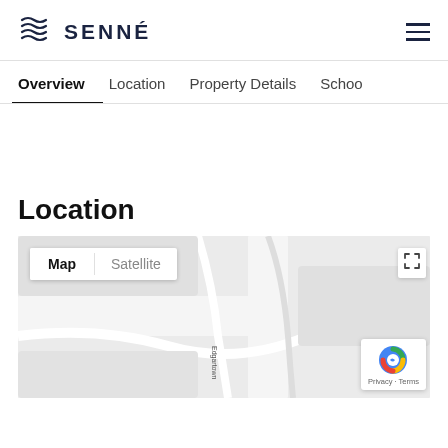SENNÉ
Overview
Location | Property Details | Schools
Location
[Figure (map): Google Map with Map/Satellite toggle showing a street map. Edgartown road visible. Fullscreen icon in top right. reCAPTCHA badge bottom right with Privacy - Terms.]